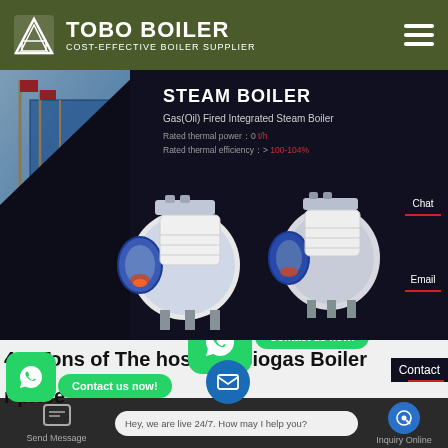[Figure (screenshot): Tobo Boiler website header with dark olive green background, white logo icon, bold white text TOBO BOILER, subtitle COST-EFFECTIVE BOILER SUPPLIER, and hamburger menu icon on right]
[Figure (screenshot): Steam Boiler product hero banner showing building with flags on left side blue sky background, dark right side with STEAM BOILER title, Gas(Oil) Fired Integrated Steam Boiler subtitle, rated thermal power and efficiency specs, two white/blue industrial boiler units, Chat and Email contact sidebar buttons on far right]
4-0 Tons of The hospital Biogas Boiler manufacturer price
[Figure (screenshot): WhatsApp contact buttons overlay: large green WhatsApp icon button centered, Contact us now green pill button, Contact label, smaller green WhatsApp button lower left, Contact us now green pill button lower left, blue email circle button]
Hey, we are live 24/7. How may I help you?
Send Message | Hey, we are live 24/7. How may I help you? | Inquiry Online